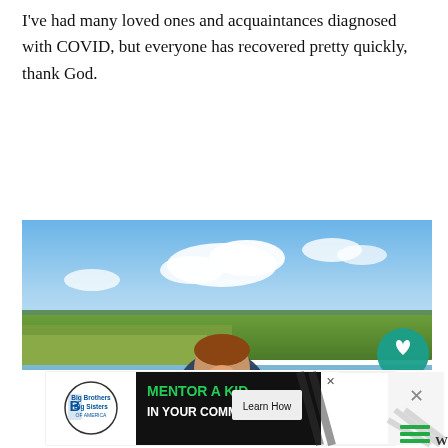I've had many loved ones and acquaintances diagnosed with COVID, but everyone has recovered pretty quickly, thank God.
[Figure (photo): Woman smiling and holding a large fish on a dock or pier beside a calm lake or marsh with trees and blue sky. Social media UI overlays visible including a heart/like button showing '1', a share button, and a 'WHAT'S NEXT → Reflections from the Ro...' card in the bottom right.]
[Figure (infographic): Advertisement banner: Big Brothers Big Sisters logo on left, text 'MENTOR A KID IN YOUR COMMUNITY.' in bold green on black background, 'Learn How' button, close X button.]